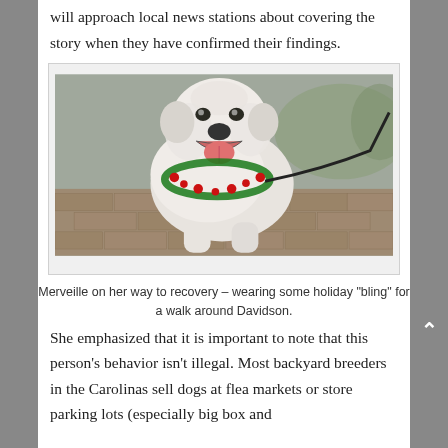will approach local news stations about covering the story when they have confirmed their findings.
[Figure (photo): A large white fluffy dog (Great Pyrenees) wearing a holiday wreath/garland around its neck, mouth open and appearing to smile, on a leash walking on a brick path.]
Merveille on her way to recovery – wearing some holiday "bling" for a walk around Davidson.
She emphasized that it is important to note that this person's behavior isn't illegal. Most backyard breeders in the Carolinas sell dogs at flea markets or store parking lots (especially big box and